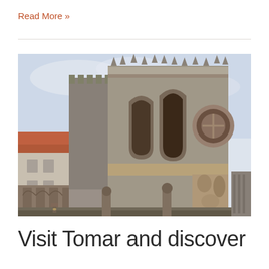Read More »
[Figure (photo): Photograph of Tomar's Convent of Christ (Convento de Cristo), a medieval Manueline-style Portuguese monument with ornate stone carvings, Gothic spires, and battlements against a pale sky, with terracotta-roofed buildings in the foreground]
Visit Tomar and discover